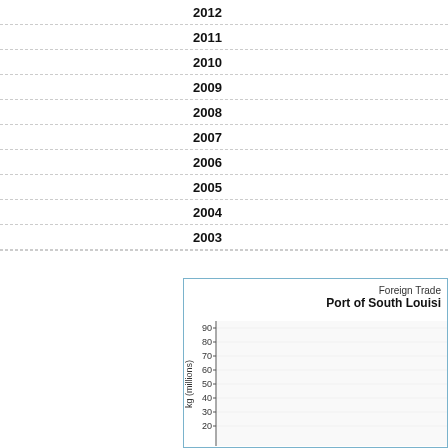| Year |
| --- |
| 2012 |
| 2011 |
| 2010 |
| 2009 |
| 2008 |
| 2007 |
| 2006 |
| 2005 |
| 2004 |
| 2003 |
[Figure (continuous-plot): Partial bar chart showing foreign trade in kg (millions) for Port of South Louisiana, y-axis from 0 to 90, chart is cut off at bottom of page.]